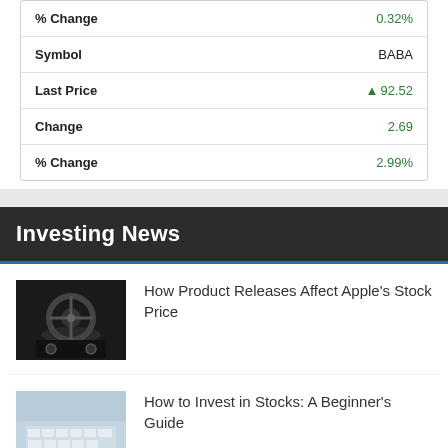| Field | Value |
| --- | --- |
| % Change | 0.32% |
| Symbol | BABA |
| Last Price | ↑92.52 |
| Change | 2.69 |
| % Change | 2.99% |
Investing News
[Figure (photo): Dark suit jacket with car steering wheel detail in background]
How Product Releases Affect Apple's Stock Price
[Figure (photo): Hands typing on a keyboard, blurred background]
How to Invest in Stocks: A Beginner's Guide